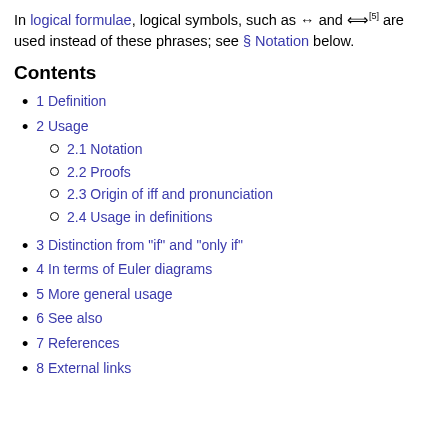In logical formulae, logical symbols, such as ↔ and ⟺ [5] are used instead of these phrases; see § Notation below.
Contents
1 Definition
2 Usage
2.1 Notation
2.2 Proofs
2.3 Origin of iff and pronunciation
2.4 Usage in definitions
3 Distinction from "if" and "only if"
4 In terms of Euler diagrams
5 More general usage
6 See also
7 References
8 External links